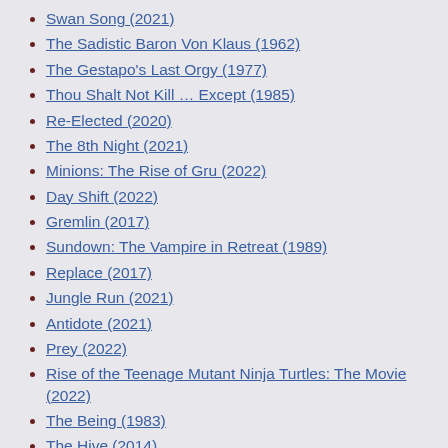Swan Song (2021)
The Sadistic Baron Von Klaus (1962)
The Gestapo's Last Orgy (1977)
Thou Shalt Not Kill … Except (1985)
Re-Elected (2020)
The 8th Night (2021)
Minions: The Rise of Gru (2022)
Day Shift (2022)
Gremlin (2017)
Sundown: The Vampire in Retreat (1989)
Replace (2017)
Jungle Run (2021)
Antidote (2021)
Prey (2022)
Rise of the Teenage Mutant Ninja Turtles: The Movie (2022)
The Being (1983)
The Hive (2014)
Parallel (2018)
These Streets We Haunt (2021)